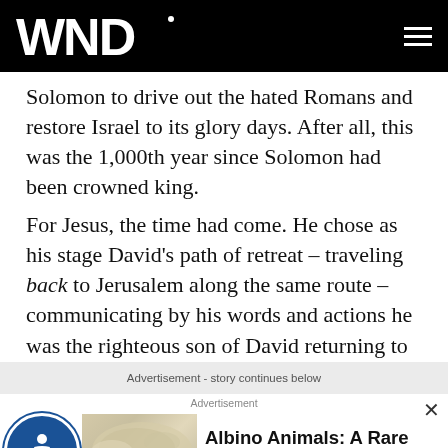WND
Solomon to drive out the hated Romans and restore Israel to its glory days. After all, this was the 1,000th year since Solomon had been crowned king.
For Jesus, the time had come. He chose as his stage David's path of retreat – traveling back to Jerusalem along the same route – communicating by his words and actions he was the righteous son of David returning to restore his father's kingdom.
Advertisement - story continues below
[Figure (other): Advertisement banner with accessibility icon, snake image, and text: Albino Animals: A Rare Kind Of Ultimate Beauty]